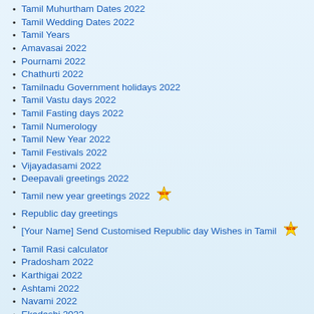Tamil Muhurtham Dates 2022
Tamil Wedding Dates 2022
Tamil Years
Amavasai 2022
Pournami 2022
Chathurti 2022
Tamilnadu Government holidays 2022
Tamil Vastu days 2022
Tamil Fasting days 2022
Tamil Numerology
Tamil New Year 2022
Tamil Festivals 2022
Vijayadasami 2022
Deepavali greetings 2022
Tamil new year greetings 2022 [NEW]
Republic day greetings
[Your Name] Send Customised Republic day Wishes in Tamil [NEW]
Tamil Rasi calculator
Pradosham 2022
Karthigai 2022
Ashtami 2022
Navami 2022
Ekadashi 2022